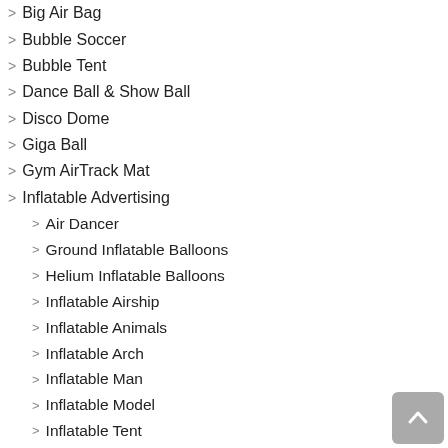Big Air Bag
Bubble Soccer
Bubble Tent
Dance Ball & Show Ball
Disco Dome
Giga Ball
Gym AirTrack Mat
Inflatable Advertising
Air Dancer
Ground Inflatable Balloons
Helium Inflatable Balloons
Inflatable Airship
Inflatable Animals
Inflatable Arch
Inflatable Man
Inflatable Model
Inflatable Tent
Inflatable Car Bed
Inflatable Foot Darts